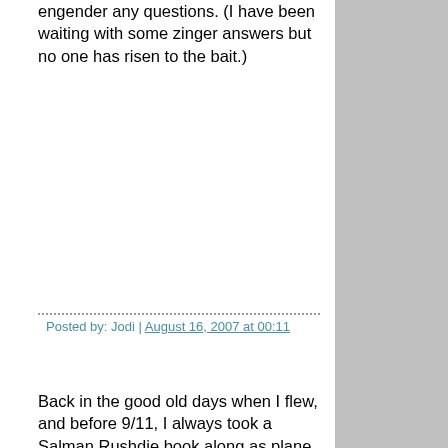engender any questions. (I have been waiting with some zinger answers but no one has risen to the bait.)
Posted by: Jodi | August 16, 2007 at 00:11
Back in the good old days when I flew, and before 9/11, I always took a Salman Rushdie book along as plane reading. It always brought what was then "security" up short, but they didn't know exactly what to make of it.